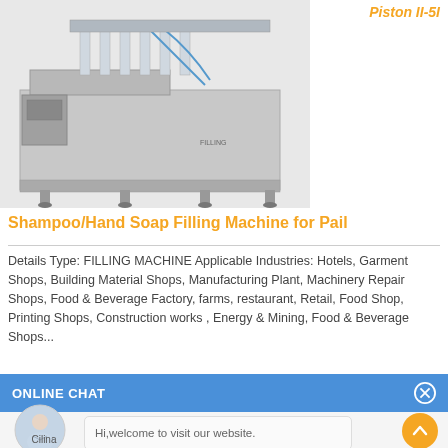[Figure (photo): Shampoo/Hand Soap Filling Machine for Pail - industrial piston filling machine, stainless steel, shown from front-side angle]
Piston II-5I
Shampoo/Hand Soap Filling Machine for Pail
Details Type: FILLING MACHINE Applicable Industries: Hotels, Garment Shops, Building Material Shops, Manufacturing Plant, Machinery Repair Shops, Food & Beverage Factory, farms, restaurant, Retail, Food Shop, Printing Shops, Construction works , Energy & Mining, Food & Beverage Shops...
ONLINE CHAT
[Figure (photo): Chat avatar photo of a woman named Cilina]
Hi,welcome to visit our website.
Cilina